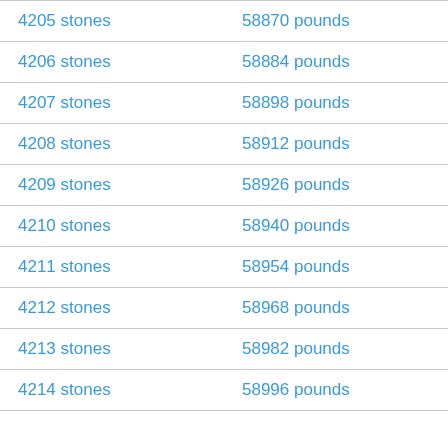| stones | pounds |
| --- | --- |
| 4205 stones | 58870 pounds |
| 4206 stones | 58884 pounds |
| 4207 stones | 58898 pounds |
| 4208 stones | 58912 pounds |
| 4209 stones | 58926 pounds |
| 4210 stones | 58940 pounds |
| 4211 stones | 58954 pounds |
| 4212 stones | 58968 pounds |
| 4213 stones | 58982 pounds |
| 4214 stones | 58996 pounds |